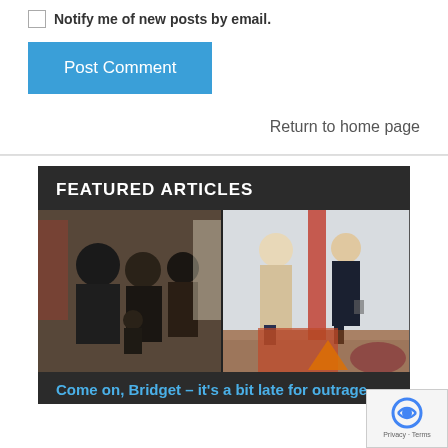Notify me of new posts by email.
Post Comment
Return to home page
FEATURED ARTICLES
[Figure (photo): Two side-by-side photos showing people in what appears to be a public indoor space, possibly a store or restaurant.]
Come on, Bridget – it’s a bit late for outrage